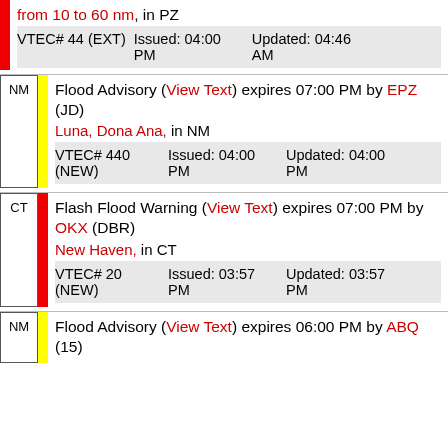from 10 to 60 nm, in PZ
| VTEC# 44 (EXT) | Issued: 04:00 PM | Updated: 04:46 AM |
| --- | --- | --- |
Flood Advisory (View Text) expires 07:00 PM by EPZ (JD)
Luna, Dona Ana, in NM
| VTEC# 440 (NEW) | Issued: 04:00 PM | Updated: 04:00 PM |
| --- | --- | --- |
Flash Flood Warning (View Text) expires 07:00 PM by OKX (DBR)
New Haven, in CT
| VTEC# 20 (NEW) | Issued: 03:57 PM | Updated: 03:57 PM |
| --- | --- | --- |
Flood Advisory (View Text) expires 06:00 PM by ABQ (15)